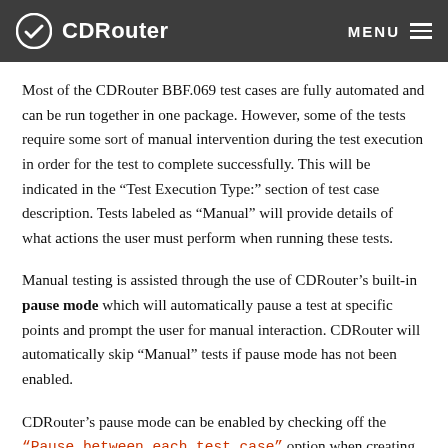CDRouter | MENU
Most of the CDRouter BBF.069 test cases are fully automated and can be run together in one package. However, some of the tests require some sort of manual intervention during the test execution in order for the test to complete successfully. This will be indicated in the “Test Execution Type:” section of test case description. Tests labeled as “Manual” will provide details of what actions the user must perform when running these tests.
Manual testing is assisted through the use of CDRouter’s built-in pause mode which will automatically pause a test at specific points and prompt the user for manual interaction. CDRouter will automatically skip “Manual” tests if pause mode has not been enabled.
CDRouter’s pause mode can be enabled by checking off the “Pause between each test case” option when creating or